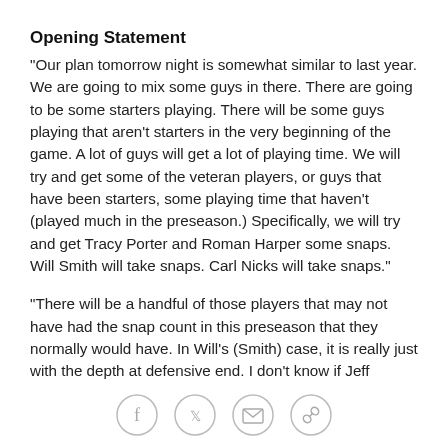Opening Statement
"Our plan tomorrow night is somewhat similar to last year. We are going to mix some guys in there. There are going to be some starters playing. There will be some guys playing that aren't starters in the very beginning of the game. A lot of guys will get a lot of playing time. We will try and get some of the veteran players, or guys that have been starters, some playing time that haven't (played much in the preseason.) Specifically, we will try and get Tracy Porter and Roman Harper some snaps. Will Smith will take snaps. Carl Nicks will take snaps."
"There will be a handful of those players that may not have had the snap count in this preseason that they normally would have. In Will's (Smith) case, it is really just with the depth at defensive end. I don't know if Jeff
[Figure (infographic): Social sharing icons: Facebook, Twitter, Email, Link/Chain]